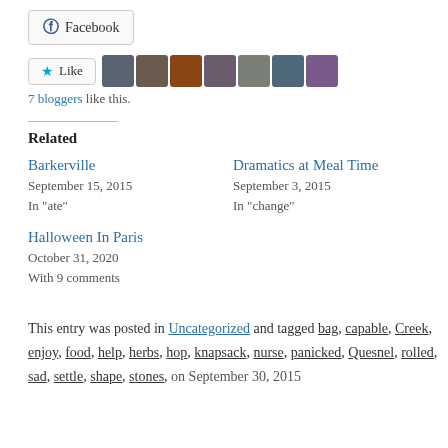[Figure (other): Facebook share button with Facebook logo icon]
[Figure (other): Like button with star icon and 7 blogger avatar thumbnails]
7 bloggers like this.
Related
Barkerville
September 15, 2015
In "ate"
Dramatics at Meal Time
September 3, 2015
In "change"
Halloween In Paris
October 31, 2020
With 9 comments
This entry was posted in Uncategorized and tagged bag, capable, Creek, enjoy, food, help, herbs, hop, knapsack, nurse, panicked, Quesnel, rolled, sad, settle, shape, stones, ...